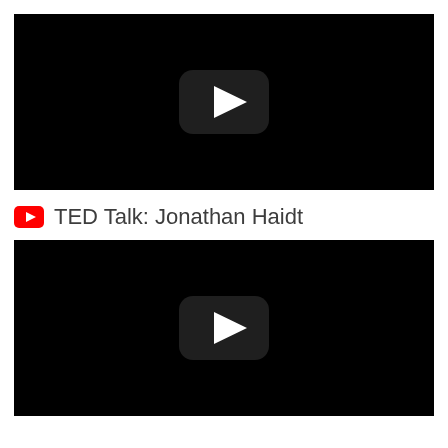[Figure (screenshot): Black video thumbnail with YouTube-style play button (dark rounded rectangle with white play triangle) centered on black background]
TED Talk: Jonathan Haidt
[Figure (screenshot): Black video thumbnail with YouTube-style play button (dark rounded rectangle with white play triangle) centered on black background]